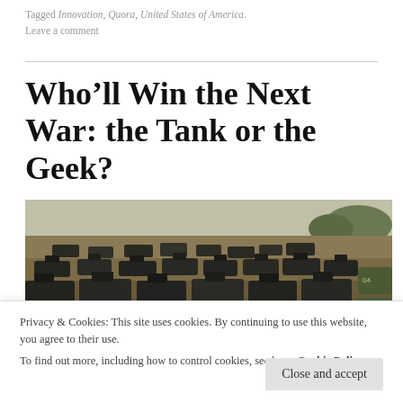Tagged Innovation, Quora, United States of America.
Leave a comment
Who’ll Win the Next War: the Tank or the Geek?
[Figure (photo): Military tanks and armored vehicles arranged in a field, with vegetation in the background. Photo credit: © Jane Doe/Getty Images (approximate).]
Privacy & Cookies: This site uses cookies. By continuing to use this website, you agree to their use.
To find out more, including how to control cookies, see here: Cookie Policy
Close and accept